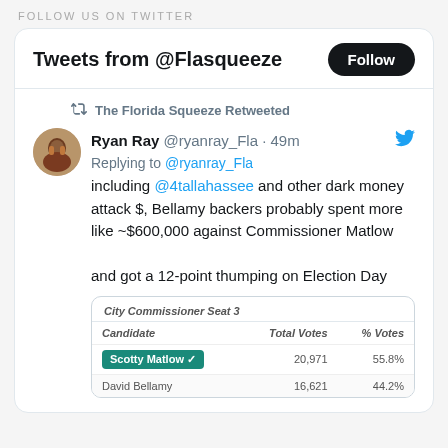FOLLOW US ON TWITTER
Tweets from @Flasqueeze
The Florida Squeeze Retweeted
Ryan Ray @ryanray_Fla · 49m
Replying to @ryanray_Fla
including @4tallahassee and other dark money attack $, Bellamy backers probably spent more like ~$600,000 against Commissioner Matlow

and got a 12-point thumping on Election Day
| Candidate | Total Votes | % Votes |
| --- | --- | --- |
| Scotty Matlow ✓ | 20,971 | 55.8% |
| David Bellamy | 16,621 | 44.2% |